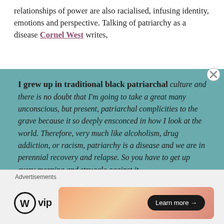relationships of power are also racialised, infusing identity, emotions and perspective. Talking of patriarchy as a disease Cornel West writes,
I grew up in traditional black patriarchal culture and there is no doubt that I'm going to take a great many unconscious, but present, patriarchal complicities to the grave because it so deeply ensconced in how I look at the world. Therefore, very much like alcoholism, drug addiction, or racism, patriarchy is a disease and we are in perennial recovery and relapse. So you have to get up every morning and struggle against it.
Advertisements
[Figure (logo): WordPress VIP logo with circle W icon and 'vip' text]
[Figure (illustration): Advertisement banner with orange/peach gradient and a Learn more button]